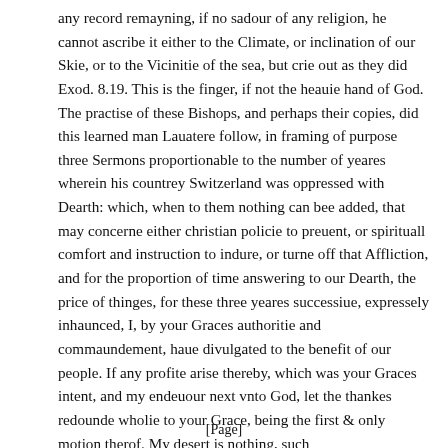any record remayning, if no sadour of any religion, he cannot ascribe it either to the Climate, or inclination of our Skie, or to the Vicinitie of the sea, but crie out as they did Exod. 8.19. This is the finger, if not the heauie hand of God. The practise of these Bishops, and perhaps their copies, did this learned man Lauatere follow, in framing of purpose three Sermons proportionable to the number of yeares wherein his countrey Switzerland was oppressed with Dearth: which, when to them nothing can bee added, that may concerne either christian policie to preuent, or spirituall comfort and instruction to indure, or turne off that Affliction, and for the proportion of time answering to our Dearth, the price of thinges, for these three yeares successiue, expressely inhaunced, I, by your Graces authoritie and commaundement, haue divulgated to the benefit of our people. If any profite arise thereby, which was your Graces intent, and my endeuour next vnto God, let the thankes redounde wholie to your Grace, being the first & only motion therof. My desert is nothing, such
[Page]